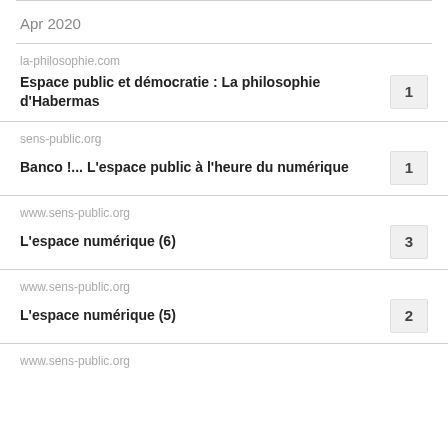Apr 2020
la-philosophie.com
Espace public et démocratie : La philosophie d'Habermas
1
sens-public.org
Banco !... L'espace public à l'heure du numérique
1
www.sens-public.org
L'espace numérique (6)
3
www.sens-public.org
L'espace numérique (5)
2
www.sens-public.org